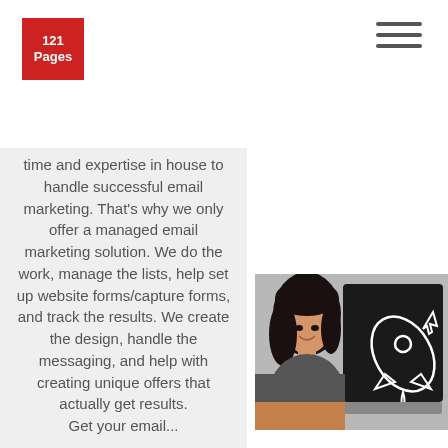121 Pages
time and expertise in house to handle successful email marketing. That’s why we only offer a managed email marketing solution. We do the work, manage the lists, help set up website forms/capture forms, and track the results. We create the design, handle the messaging, and help with creating unique offers that actually get results.
[Figure (photo): Woman looking at laptop with rocket ship email marketing illustration on screen]
Get your email...